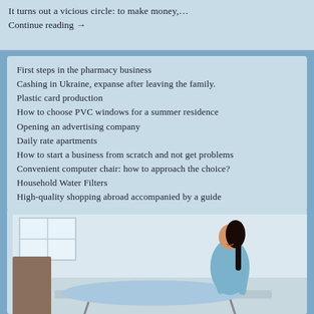It turns out a vicious circle: to make money,… Continue reading →
First steps in the pharmacy business
Cashing in Ukraine, expanse after leaving the family.
Plastic card production
How to choose PVC windows for a summer residence
Opening an advertising company
Daily rate apartments
How to start a business from scratch and not get problems
Convenient computer chair: how to approach the choice?
Household Water Filters
High-quality shopping abroad accompanied by a guide
[Figure (photo): A woman with dark hair wearing a light blue long-sleeve top, ironing or handling a light blue garment on an ironing board in a bright, modern interior.]